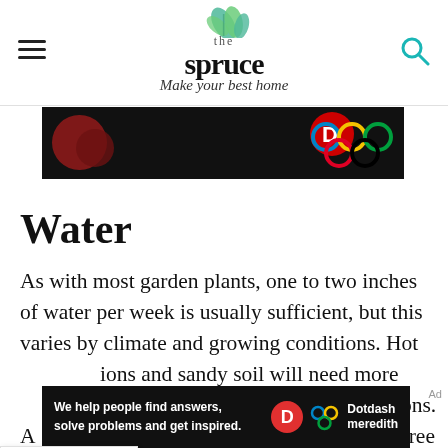the spruce — Make your best home
[Figure (screenshot): Advertisement banner with dark background showing colorful circular graphics]
Water
As with most garden plants, one to two inches of water per week is usually sufficient, but this varies by climate and growing conditions. Hot [condi]tions and sandy soil will need more [frequ]ent watering than cool, coastal regions. A [simp]le rule is to water when the top three [inc]hes of soil are dry.
[Figure (screenshot): Dotdash Meredith advertisement banner: We help people find answers, solve problems and get inspired.]
Ad